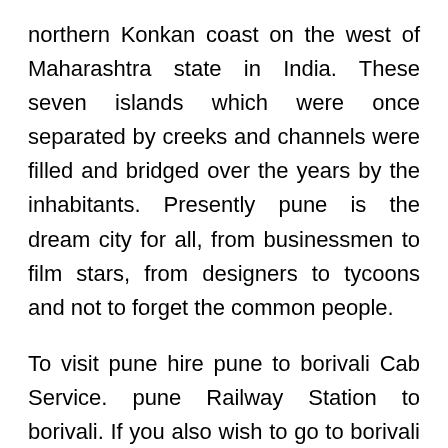northern Konkan coast on the west of Maharashtra state in India. These seven islands which were once separated by creeks and channels were filled and bridged over the years by the inhabitants. Presently pune is the dream city for all, from businessmen to film stars, from designers to tycoons and not to forget the common people.
To visit pune hire pune to borivali Cab Service. pune Railway Station to borivali. If you also wish to go to borivali and are looking for cabs in pune to take you there, you have plenty to choose from. At IndiaCabDeal, we are happy to provide you with best deals for cab services in pune.
If you're looking for a safe and reliable cab rental,